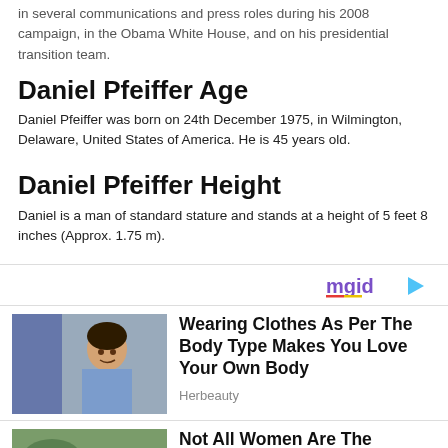in several communications and press roles during his 2008 campaign, in the Obama White House, and on his presidential transition team.
Daniel Pfeiffer Age
Daniel Pfeiffer was born on 24th December 1975, in Wilmington, Delaware, United States of America. He is 45 years old.
Daniel Pfeiffer Height
Daniel is a man of standard stature and stands at a height of 5 feet 8 inches (Approx. 1.75 m).
[Figure (logo): mgid logo with play button icon]
[Figure (photo): Young woman in blue cardigan smiling, with shelves in background - Herbeauty ad]
Wearing Clothes As Per The Body Type Makes You Love Your Own Body
Herbeauty
[Figure (photo): Partial ad image at bottom of page]
Not All Women Are The